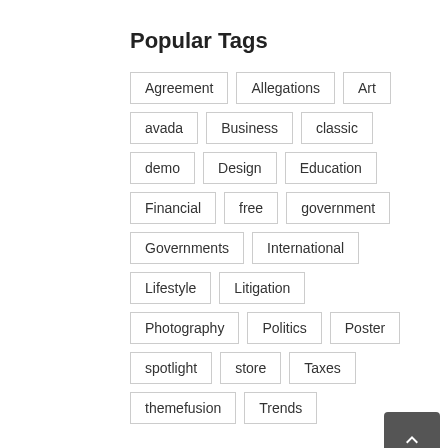Popular Tags
Agreement
Allegations
Art
avada
Business
classic
demo
Design
Education
Financial
free
government
Governments
International
Lifestyle
Litigation
Photography
Politics
Poster
spotlight
store
Taxes
themefusion
Trends
Recent Tweets
ThemeFu...